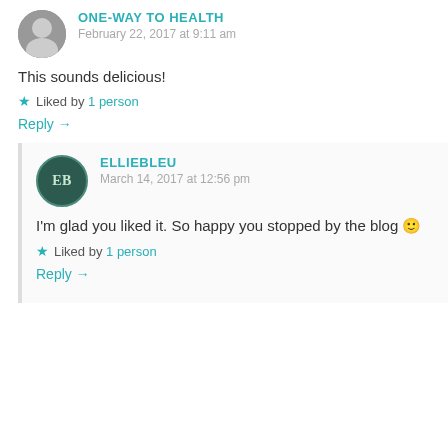ONE-WAY TO HEALTH
February 22, 2017 at 9:11 am
This sounds delicious!
Liked by 1 person
Reply →
ELLIEBLEU
March 14, 2017 at 12:56 pm
I'm glad you liked it. So happy you stopped by the blog 🙂
Liked by 1 person
Reply →